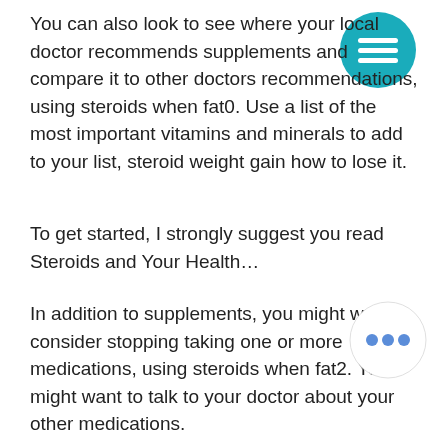You can also look to see where your local doctor recommends supplements and compare it to other doctors recommendations, using steroids when fat0. Use a list of the most important vitamins and minerals to add to your list, steroid weight gain how to lose it.
To get started, I strongly suggest you read Steroids and Your Health…
In addition to supplements, you might want to consider stopping taking one or more medications, using steroids when fat2. You might want to talk to your doctor about your other medications.
Anavar and Fat Loss: Anavar successfully associates with considerable fat loss and leads to weight loss as opposed to other anabolicsteroids. At a very young age of 5
[Figure (other): Teal circular menu button with three horizontal white lines (hamburger icon)]
[Figure (other): White circular button with three horizontal dots (ellipsis/more options icon)]